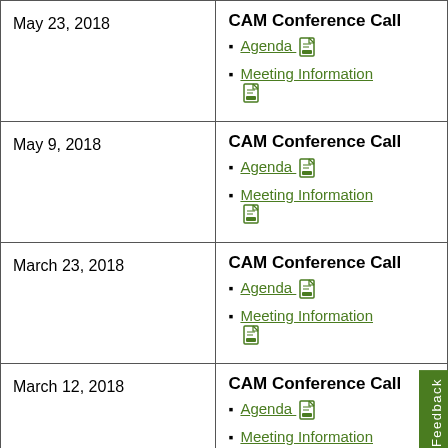| Date | Event |
| --- | --- |
| May 23, 2018 | CAM Conference Call
• Agenda [pdf]
• Meeting Information [pdf] |
| May 9, 2018 | CAM Conference Call
• Agenda [pdf]
• Meeting Information [pdf] |
| March 23, 2018 | CAM Conference Call
• Agenda [pdf]
• Meeting Information [pdf] |
| March 12, 2018 | CAM Conference Call
• Agenda [pdf]
• Meeting Information [pdf] |